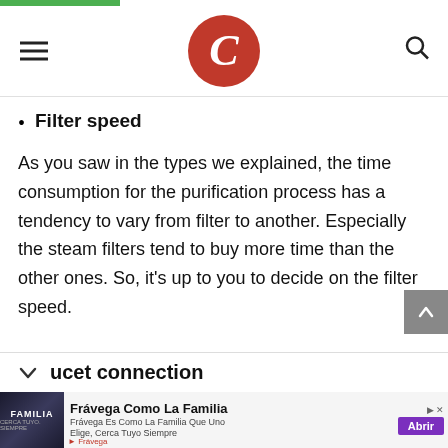Navigation header with hamburger menu, C logo, and search icon
Filter speed
As you saw in the types we explained, the time consumption for the purification process has a tendency to vary from filter to another. Especially the steam filters tend to buy more time than the other ones. So, it's up to you to decide on the filter speed.
Faucet connection
[Figure (other): Advertisement banner for Frávega Como La Familia with image of group, purple Abrir button, and Frávega branding]